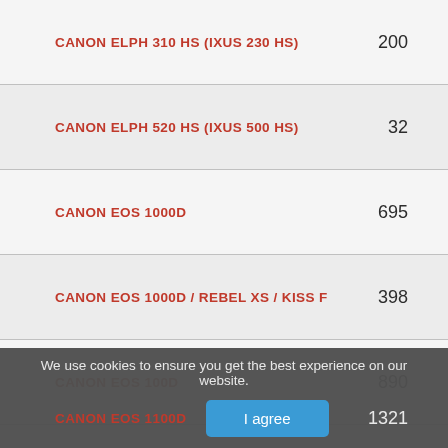| Camera | Count |
| --- | --- |
| CANON ELPH 310 HS (IXUS 230 HS) | 200 |
| CANON ELPH 520 HS (IXUS 500 HS) | 32 |
| CANON EOS 1000D | 695 |
| CANON EOS 1000D / REBEL XS / KISS F | 398 |
| CANON EOS 100D | 890 |
| CANON EOS 100D / REBEL SL1 / KISS X7 | 453 |
| CANON EOS 10D | 359 |
| CANON EOS 1100D | 1321 |
We use cookies to ensure you get the best experience on our website.